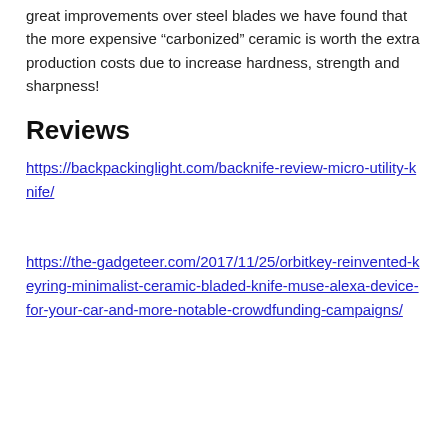great improvements over steel blades we have found that the more expensive “carbonized” ceramic is worth the extra production costs due to increase hardness, strength and sharpness!
Reviews
https://backpackinglight.com/backnife-review-micro-utility-knife/
https://the-gadgeteer.com/2017/11/25/orbitkey-reinvented-keyring-minimalist-ceramic-bladed-knife-muse-alexa-device-for-your-car-and-more-notable-crowdfunding-campaigns/